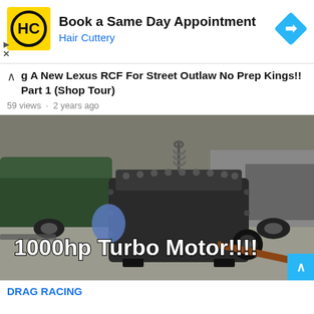[Figure (infographic): Hair Cuttery advertisement banner with logo, 'Book a Same Day Appointment' text, Hair Cuttery subtitle, and a blue diamond navigation arrow icon]
g A New Lexus RCF For Street Outlaw No Prep Kings!! Part 1 (Shop Tour)
59 views · 2 years ago
[Figure (photo): Photo of a car engine block labeled '1000hp Turbo Motor!!!!' hanging by a chain in an automotive shop with vehicles in background]
DRAG RACING